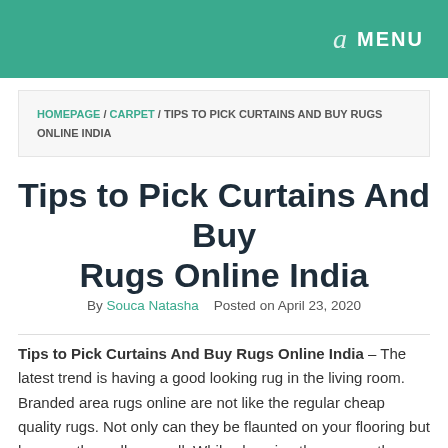a  MENU
HOMEPAGE / CARPET / TIPS TO PICK CURTAINS AND BUY RUGS ONLINE INDIA
Tips to Pick Curtains And Buy Rugs Online India
By Souca Natasha   Posted on April 23, 2020
Tips to Pick Curtains And Buy Rugs Online India – The latest trend is having a good looking rug in the living room. Branded area rugs online are not like the regular cheap quality rugs. Not only can they be flaunted on your flooring but hung on the walls as well. While choosing these rugs, then, you will need to follow a few tips. The experts suggest that it is best to buy area rugs online only of top quality rugs which are generally handmade and knotted by hand. The best of blue rugs are generally made in 100 percent wool. If you are looking for a great looking rug then it is best to avoid the machine-made ones.